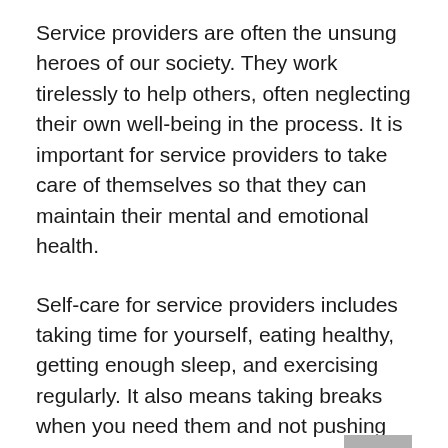Service providers are often the unsung heroes of our society. They work tirelessly to help others, often neglecting their own well-being in the process. It is important for service providers to take care of themselves so that they can maintain their mental and emotional health.
Self-care for service providers includes taking time for yourself, eating healthy, getting enough sleep, and exercising regularly. It also means taking breaks when you need them and not pushing yourself beyond your limits. When you take care of yourself, you'll be